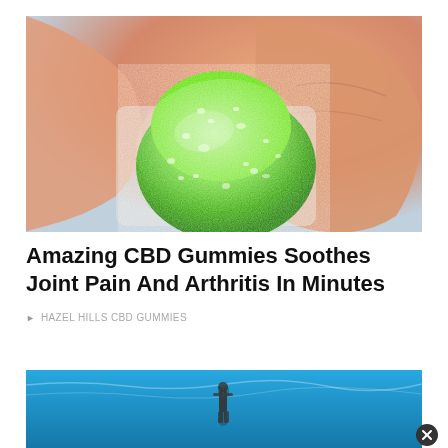[Figure (photo): Close-up photo of a green sugar-coated gummy candy being held between two fingers against a light background.]
Amazing CBD Gummies Soothes Joint Pain And Arthritis In Minutes
HAZEL HILLS CBD GUMMIES
[Figure (photo): Photo of a person swimming in a bright blue pool or water, viewed from above, partially cropped.]